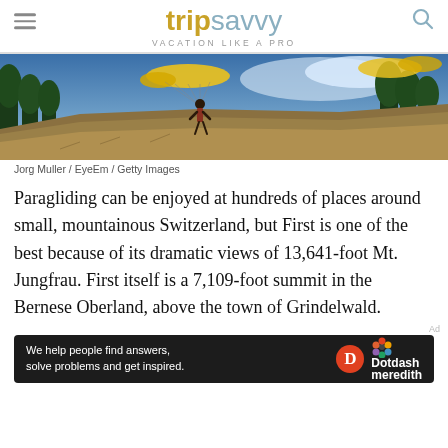tripsavvy VACATION LIKE A PRO
[Figure (photo): A paraglider with yellow canopy landing on a grassy mountain slope with trees and blue sky in background]
Jorg Muller / EyeEm / Getty Images
Paragliding can be enjoyed at hundreds of places around small, mountainous Switzerland, but First is one of the best because of its dramatic views of 13,641-foot Mt. Jungfrau. First itself is a 7,109-foot summit in the Bernese Oberland, above the town of Grindelwald.
[Figure (infographic): Dotdash Meredith advertisement banner: 'We help people find answers, solve problems and get inspired.']